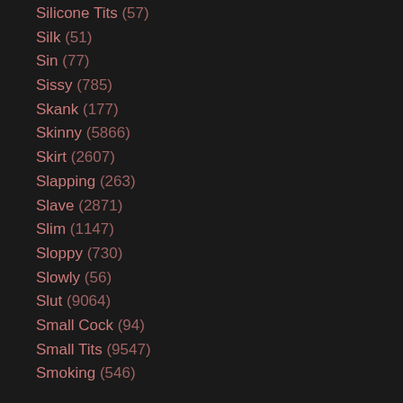Silicone Tits (57)
Silk (51)
Sin (77)
Sissy (785)
Skank (177)
Skinny (5866)
Skirt (2607)
Slapping (263)
Slave (2871)
Slim (1147)
Sloppy (730)
Slowly (56)
Slut (9064)
Small Cock (94)
Small Tits (9547)
Smoking (546)